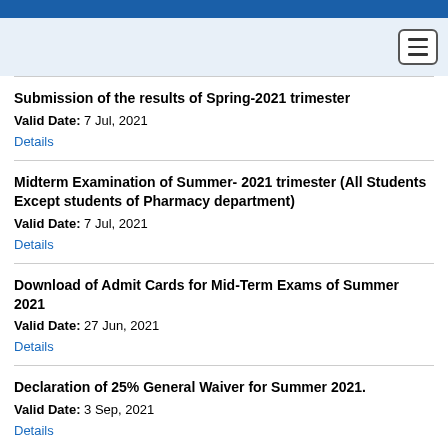Submission of the results of Spring-2021 trimester
Valid Date: 7 Jul, 2021
Details
Midterm Examination of Summer- 2021 trimester (All Students Except students of Pharmacy department)
Valid Date: 7 Jul, 2021
Details
Download of Admit Cards for Mid-Term Exams of Summer 2021
Valid Date: 27 Jun, 2021
Details
Declaration of 25% General Waiver for Summer 2021.
Valid Date: 3 Sep, 2021
Details